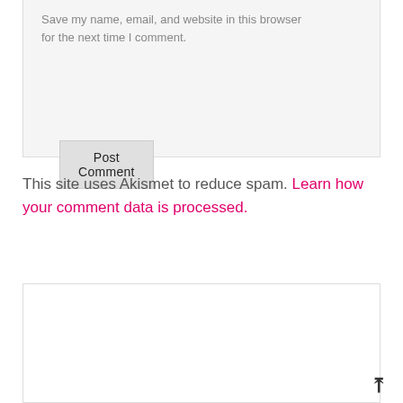Save my name, email, and website in this browser for the next time I comment.
Post Comment
This site uses Akismet to reduce spam. Learn how your comment data is processed.
HELLO AND WELCOME
[Figure (photo): Circular cropped profile photo, partially visible at bottom of page]